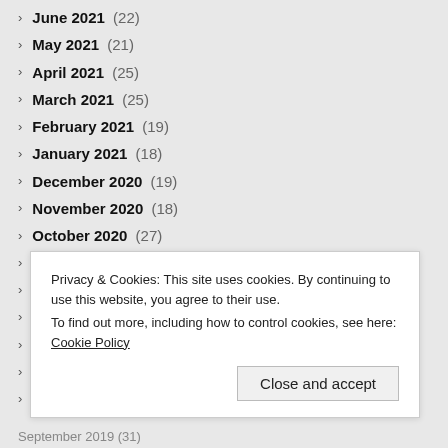> June 2021 (22)
> May 2021 (21)
> April 2021 (25)
> March 2021 (25)
> February 2021 (19)
> January 2021 (18)
> December 2020 (19)
> November 2020 (18)
> October 2020 (27)
> September 2020 (27)
> August 2020 (24)
> July 2020 (28)
> June 2020 (31)
> May 2020 (26)
> April 2020 (29)
Privacy & Cookies: This site uses cookies. By continuing to use this website, you agree to their use. To find out more, including how to control cookies, see here: Cookie Policy
Close and accept
September 2019 (31)